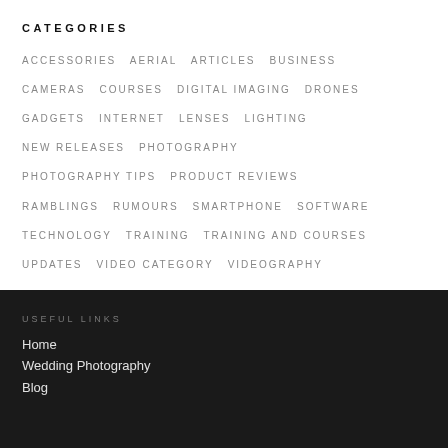CATEGORIES
ACCESSORIES
AERIAL
ARTICLES
BUSINESS
CAMERAS
COURSES
DIGITAL IMAGING
DRONES
GADGETS
INTERNET
LENSES
LIGHTING
NEW RELEASES
PHOTOGRAPHY
PHOTOGRAPHY TIPS
PRODUCT REVIEWS
RAMBLINGS
RUMOURS
SMARTPHONE
SOFTWARE
TECHNOLOGY
TRAINING
TRAINING AND COURSES
UPDATES
VIDEO CATEGORY
VIDEOGRAPHY
USEFUL LINKS
Home
Wedding Photography
Blog